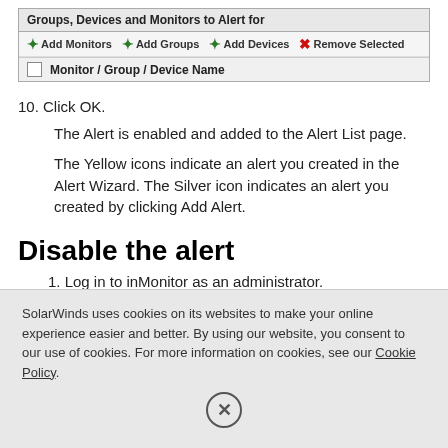[Figure (screenshot): Screenshot of a UI panel showing 'Groups, Devices and Monitors to Alert for' with toolbar buttons: Add Monitors, Add Groups, Add Devices, Remove Selected, and a column header 'Monitor / Group / Device Name' with a checkbox.]
10. Click OK.
The Alert is enabled and added to the Alert List page.
The Yellow icons indicate an alert you created in the Alert Wizard. The Silver icon indicates an alert you created by clicking Add Alert.
Disable the alert
1. Log in to inMonitor as an administrator.
SolarWinds uses cookies on its websites to make your online experience easier and better. By using our website, you consent to our use of cookies. For more information on cookies, see our Cookie Policy.